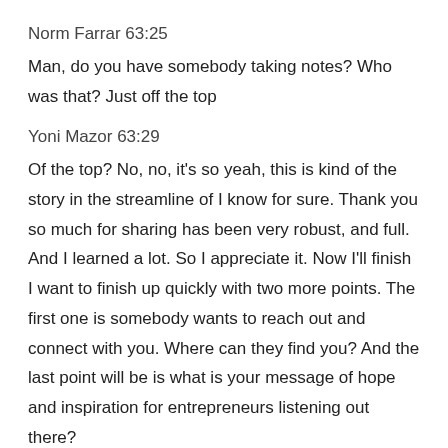Norm Farrar 63:25
Man, do you have somebody taking notes? Who was that? Just off the top
Yoni Mazor 63:29
Of the top? No, no, it's so yeah, this is kind of the story in the streamline of I know for sure. Thank you so much for sharing has been very robust, and full. And I learned a lot. So I appreciate it. Now I'll finish I want to finish up quickly with two more points. The first one is somebody wants to reach out and connect with you. Where can they find you? And the last point will be is what is your message of hope and inspiration for entrepreneurs listening out there?
Norm Farrar 63:48
Alright. So the …